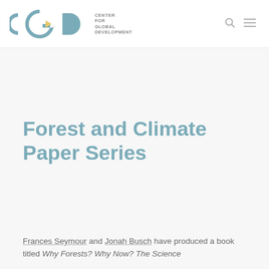CENTER FOR GLOBAL DEVELOPMENT
Forest and Climate Paper Series
Frances Seymour and Jonah Busch have produced a book titled Why Forests? Why Now? The Science